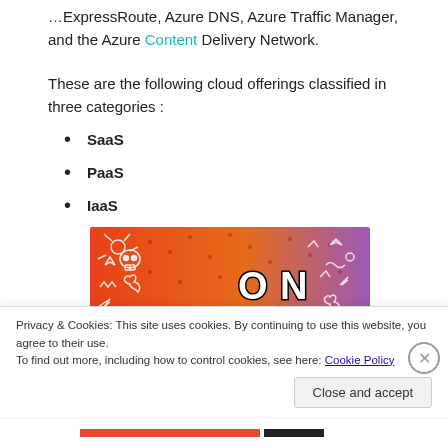…ExpressRoute, Azure DNS, Azure Traffic Manager, and the Azure Content Delivery Network.
These are the following cloud offerings classified in three categories :
SaaS
PaaS
IaaS
[Figure (illustration): Colorful gradient banner with 'ON tumblr' text and cartoon doodles on orange-to-purple background]
Privacy & Cookies: This site uses cookies. By continuing to use this website, you agree to their use.
To find out more, including how to control cookies, see here: Cookie Policy
[Close and accept]